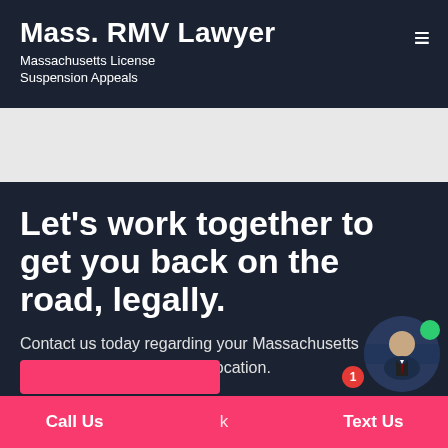Mass. RMV Lawyer
Massachusetts License Suspension Appeals
Let's work together to get you back on the road, legally.
Contact us today regarding your Massachusetts License Suspension or Revocation.
Call Us   k   Text Us